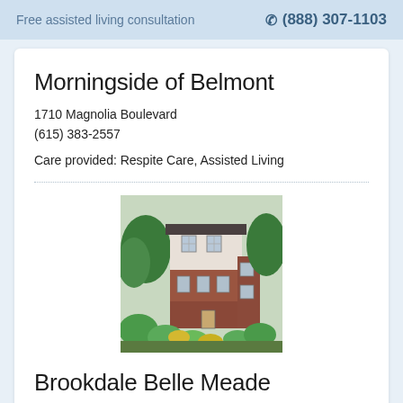Free assisted living consultation  ☎ (888) 307-1103
Morningside of Belmont
1710 Magnolia Boulevard
(615) 383-2557
Care provided: Respite Care, Assisted Living
[Figure (photo): Exterior photo of a multi-story brick and white residential building surrounded by lush green trees and flowering shrubs]
Brookdale Belle Meade
6767 Brookmont Terrace